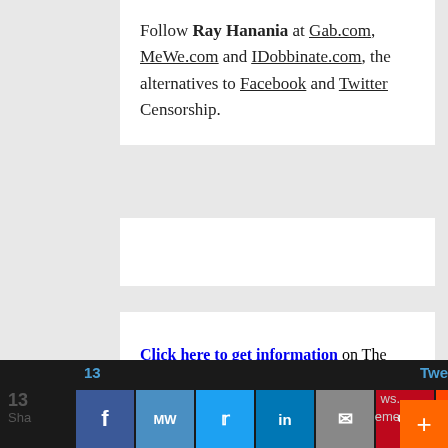Follow Ray Hanania at Gab.com, MeWe.com and IDobbinate.com, the alternatives to Facebook and Twitter Censorship.
Click here to get information on The Ray Hanania Radio Show and its podcasts
[Figure (infographic): Social media sharing bar with share count of 13, icons for Facebook, MeWe, Twitter, LinkedIn, Email, Pinterest, Reddit, Mix, WhatsApp, and a plus button. Tweet label visible on right.]